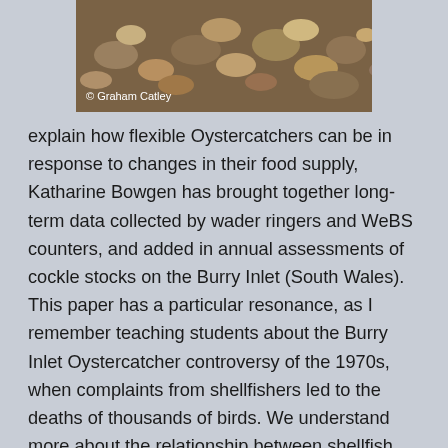[Figure (photo): Close-up photograph of pebbles and rocks on a beach or shoreline, with a photo credit reading '© Graham Catley' in white text at the bottom left.]
explain how flexible Oystercatchers can be in response to changes in their food supply, Katharine Bowgen has brought together long-term data collected by wader ringers and WeBS counters, and added in annual assessments of cockle stocks on the Burry Inlet (South Wales). This paper has a particular resonance, as I remember teaching students about the Burry Inlet Oystercatcher controversy of the 1970s, when complaints from shellfishers led to the deaths of thousands of birds. We understand more about the relationship between shellfish stocks and bird numbers now but what happens when Oystercatchers can't find food? This paper makes a strong case for the